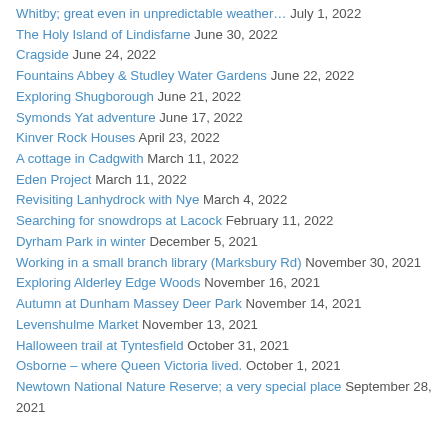Whitby; great even in unpredictable weather… July 1, 2022
The Holy Island of Lindisfarne June 30, 2022
Cragside June 24, 2022
Fountains Abbey & Studley Water Gardens June 22, 2022
Exploring Shugborough June 21, 2022
Symonds Yat adventure June 17, 2022
Kinver Rock Houses April 23, 2022
A cottage in Cadgwith March 11, 2022
Eden Project March 11, 2022
Revisiting Lanhydrock with Nye March 4, 2022
Searching for snowdrops at Lacock February 11, 2022
Dyrham Park in winter December 5, 2021
Working in a small branch library (Marksbury Rd) November 30, 2021
Exploring Alderley Edge Woods November 16, 2021
Autumn at Dunham Massey Deer Park November 14, 2021
Levenshulme Market November 13, 2021
Halloween trail at Tyntesfield October 31, 2021
Osborne – where Queen Victoria lived. October 1, 2021
Newtown National Nature Reserve; a very special place September 28, 2021